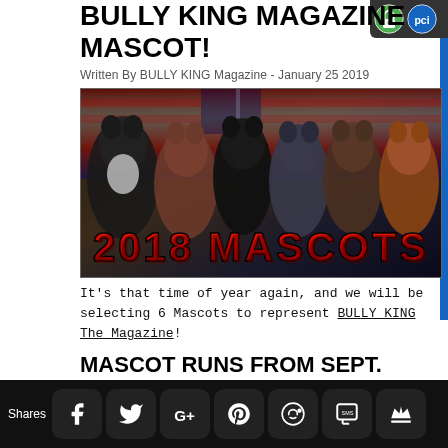BULLY KING MAGAZINE MASCOT!
Written By BULLY KING Magazine - January 25 2019
[Figure (photo): Six American Bully dogs posed in front of an American flag background with bold red text reading '2018 MASCOTS' at the bottom]
It's that time of year again, and we will be selecting 6 Mascots to represent BULLY KING The Magazine!
MASCOT RUNS FROM SEPT. 2019-
Shares [social share buttons: Facebook, Twitter, Google+, Pinterest, Reddit, SMS, Crown]